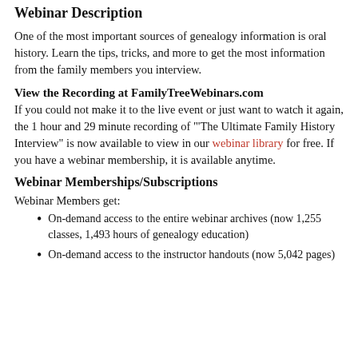Webinar Description
One of the most important sources of genealogy information is oral history. Learn the tips, tricks, and more to get the most information from the family members you interview.
View the Recording at FamilyTreeWebinars.com
If you could not make it to the live event or just want to watch it again, the 1 hour and 29 minute recording of "'The Ultimate Family History Interview" is now available to view in our webinar library for free. If you have a webinar membership, it is available anytime.
Webinar Memberships/Subscriptions
Webinar Members get:
On-demand access to the entire webinar archives (now 1,255 classes, 1,493 hours of genealogy education)
On-demand access to the instructor handouts (now 5,042 pages)